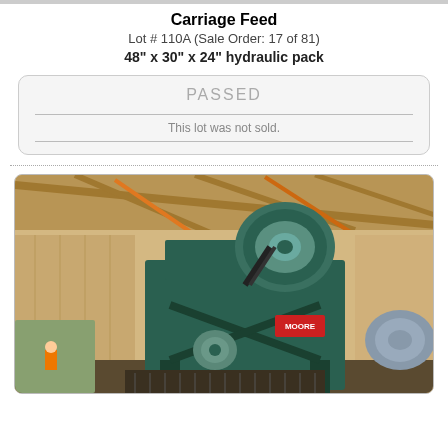Carriage Feed
Lot # 110A (Sale Order: 17 of 81)
48" x 30" x 24" hydraulic pack
PASSED
This lot was not sold.
[Figure (photo): Industrial carriage feed machine (green) inside a warehouse/mill building with metal roof trusses. The machine appears to be a large sawmill carriage feed unit with pulleys and belt drives visible.]